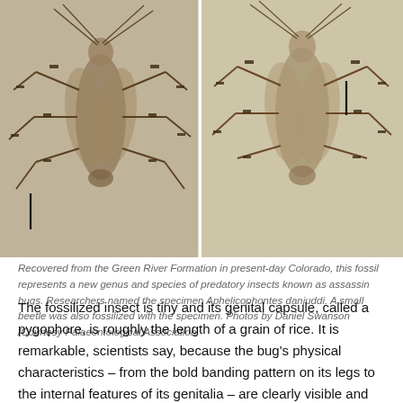[Figure (photo): Two side-by-side photographs of fossil assassin bugs recovered from the Green River Formation. Each fossil shows detailed preservation of the insect including banded legs. Scale bars are visible in each photo.]
Recovered from the Green River Formation in present-day Colorado, this fossil represents a new genus and species of predatory insects known as assassin bugs. Researchers named the specimen Aphelicophontes danjuddi. A small beetle was also fossilized with the specimen. Photos by Daniel Swanson /Courtesy Palaeontological Association
The fossilized insect is tiny and its genital capsule, called a pygophore, is roughly the length of a grain of rice. It is remarkable, scientists say, because the bug's physical characteristics – from the bold banding pattern on its legs to the internal features of its genitalia – are clearly visible and well-preserved. Recovered from the Green River Formation in present-day Colorado, the fossil